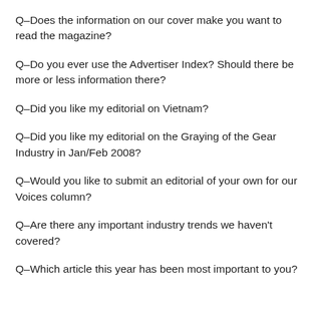Q–Does the information on our cover make you want to read the magazine?
Q–Do you ever use the Advertiser Index? Should there be more or less information there?
Q–Did you like my editorial on Vietnam?
Q–Did you like my editorial on the Graying of the Gear Industry in Jan/Feb 2008?
Q–Would you like to submit an editorial of your own for our Voices column?
Q–Are there any important industry trends we haven't covered?
Q–Which article this year has been most important to you?